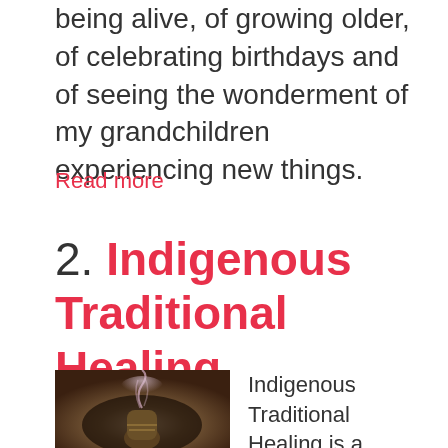being alive, of growing older, of celebrating birthdays and of seeing the wonderment of my grandchildren experiencing new things.
Read more
2. Indigenous Traditional Healing
[Figure (photo): A bundled sage smudge stick with smoke rising against a dark background]
Indigenous Traditional Healing is a holistic